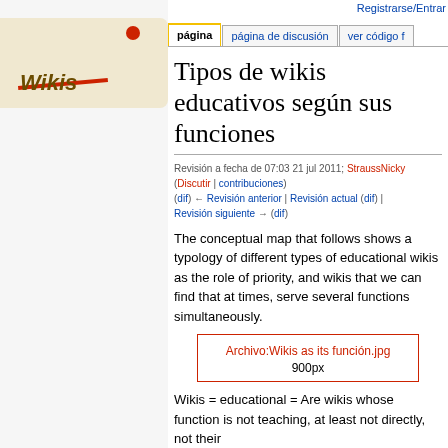Registrarse/Entrar
página | página de discusión | ver código f
Tipos de wikis educativos según sus funciones
Revisión a fecha de 07:03 21 jul 2011; StraussNicky (Discutir | contribuciones) (dif) ← Revisión anterior | Revisión actual (dif) | Revisión siguiente → (dif)
The conceptual map that follows shows a typology of different types of educational wikis as the role of priority, and wikis that we can find that at times, serve several functions simultaneously.
[Figure (other): Archivo:Wikis as its función.jpg placeholder box, 900px]
Wikis = educational = Are wikis whose function is not teaching, at least not directly, not their